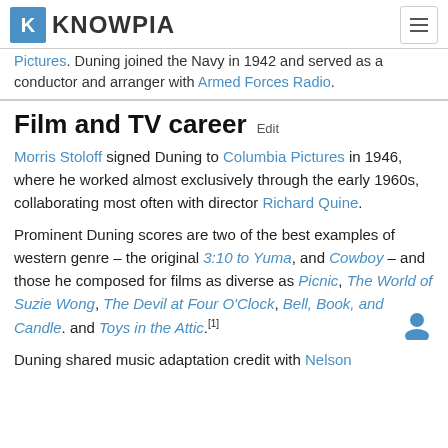KNOWPIA (logo) — navigation header
Pictures. Duning joined the Navy in 1942 and served as a conductor and arranger with Armed Forces Radio.
Film and TV career  Edit
Morris Stoloff signed Duning to Columbia Pictures in 1946, where he worked almost exclusively through the early 1960s, collaborating most often with director Richard Quine.
Prominent Duning scores are two of the best examples of western genre – the original 3:10 to Yuma, and Cowboy – and those he composed for films as diverse as Picnic, The World of Suzie Wong, The Devil at Four O'Clock, Bell, Book, and Candle. and Toys in the Attic.[1]
Duning shared music adaptation credit with Nelson